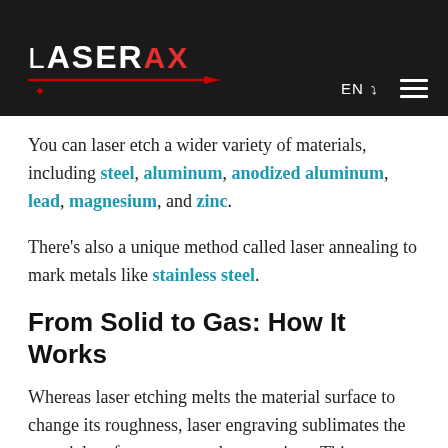LASERAX | EN
You can laser etch a wider variety of materials, including steel, aluminum, anodized aluminum, lead, magnesium, and zinc.
There's also a unique method called laser annealing to mark metals like stainless steel.
From Solid to Gas: How It Works
Whereas laser etching melts the material surface to change its roughness, laser engraving sublimates the material surface to create deep crevices. This means that the